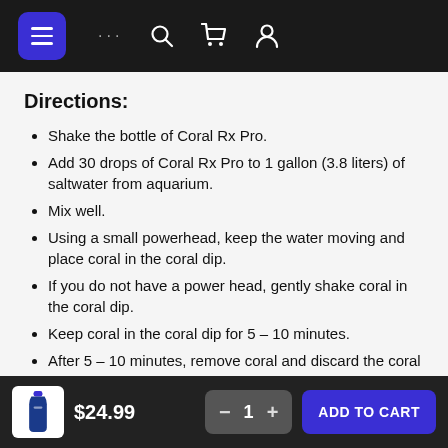Navigation bar with menu, search, cart, and profile icons
Directions:
Shake the bottle of Coral Rx Pro.
Add 30 drops of Coral Rx Pro to 1 gallon (3.8 liters) of saltwater from aquarium.
Mix well.
Using a small powerhead, keep the water moving and place coral in the coral dip.
If you do not have a power head, gently shake coral in the coral dip.
Keep coral in the coral dip for 5 – 10 minutes.
After 5 – 10 minutes, remove coral and discard the coral dip.
Do not reuse the coral dip as parasites may release
$24.99  –  1  +  ADD TO CART